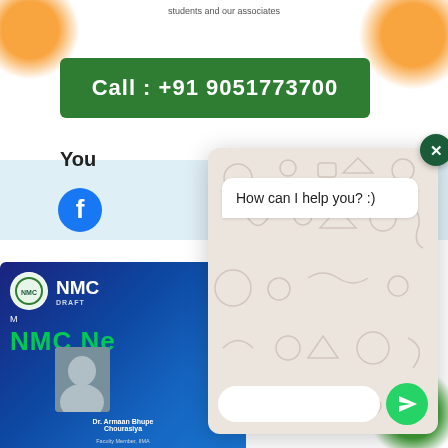students and our associates
Call : +91 9051773700
You
[Figure (screenshot): Partial Facebook icon visible on main webpage]
[Figure (screenshot): NMC card/poster showing NMC logo, text 'NMC', 'DRAFT', 'M', 'NMC Ne', doctor photo, Dr. Armaan Bhupe Chourasiya, Faculty Member, IIMA]
[Figure (screenshot): WhatsApp chat popup overlay with 'How can I help you? :)' message bubble, send button, and close button. The popup appears on top of the webpage content.]
How can I help you? :)
Dr. Armaan Bhupe Chourasiya
Faculty Member, IIMA